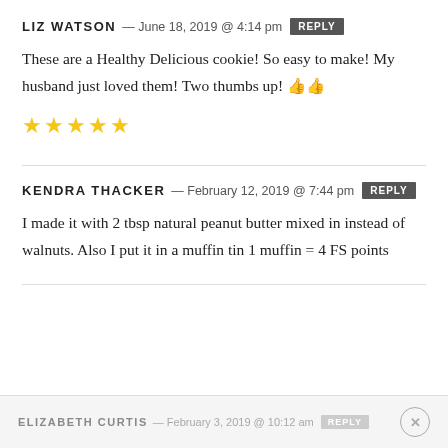LIZ WATSON — June 18, 2019 @ 4:14 pm REPLY
These are a Healthy Delicious cookie! So easy to make! My husband just loved them! Two thumbs up! 👍👍
[Figure (other): Five gold stars rating]
KENDRA THACKER — February 12, 2019 @ 7:44 pm REPLY
I made it with 2 tbsp natural peanut butter mixed in instead of walnuts. Also I put it in a muffin tin 1 muffin = 4 FS points
ELIZABETH CURTIS — February 3, 2019 @ 10:12 am REPLY